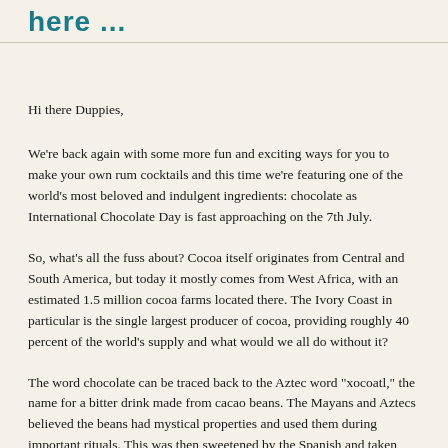here ...
Hi there Duppies,
We're back again with some more fun and exciting ways for you to make your own rum cocktails and this time we're featuring one of the world's most beloved and indulgent ingredients: chocolate as International Chocolate Day is fast approaching on the 7th July.
So, what's all the fuss about? Cocoa itself originates from Central and South America, but today it mostly comes from West Africa, with an estimated 1.5 million cocoa farms located there. The Ivory Coast in particular is the single largest producer of cocoa, providing roughly 40 percent of the world's supply and what would we all do without it?
The word chocolate can be traced back to the Aztec word "xocoatl," the name for a bitter drink made from cacao beans. The Mayans and Aztecs believed the beans had mystical properties and used them during important rituals. This was then sweetened by the Spanish and taken back to Europe, catapulting it into popular demand. That being said, the Swedish were the first to invent milk chocolate as we know it today and it was in fact the British that produced